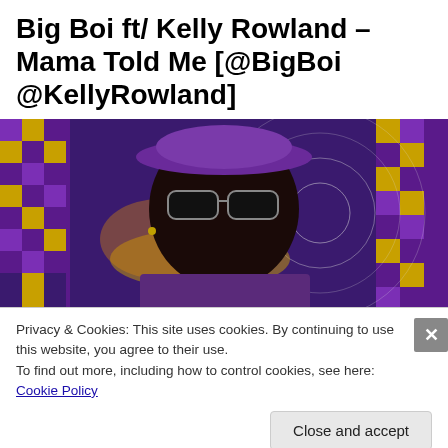Big Boi ft/ Kelly Rowland – Mama Told Me [@BigBoi @KellyRowland]
[Figure (photo): A man wearing sunglasses and a purple hat against a colorful purple, gold, and black psychedelic checkered background with circular patterns]
Privacy & Cookies: This site uses cookies. By continuing to use this website, you agree to their use.
To find out more, including how to control cookies, see here: Cookie Policy